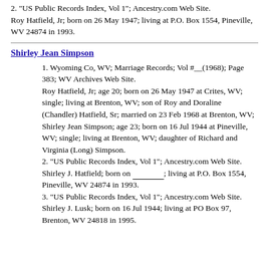2. "US Public Records Index, Vol 1"; Ancestry.com Web Site.
Roy Hatfield, Jr; born on 26 May 1947; living at P.O. Box 1554, Pineville, WV 24874 in 1993.
Shirley Jean Simpson
1. Wyoming Co, WV; Marriage Records; Vol #__(1968); Page 383; WV Archives Web Site.
Roy Hatfield, Jr; age 20; born on 26 May 1947 at Crites, WV; single; living at Brenton, WV; son of Roy and Doraline (Chandler) Hatfield, Sr; married on 23 Feb 1968 at Brenton, WV; Shirley Jean Simpson; age 23; born on 16 Jul 1944 at Pineville, WV; single; living at Brenton, WV; daughter of Richard and Virginia (Long) Simpson.
2. "US Public Records Index, Vol 1"; Ancestry.com Web Site.
Shirley J. Hatfield; born on _____; living at P.O. Box 1554, Pineville, WV 24874 in 1993.
3. "US Public Records Index, Vol 1"; Ancestry.com Web Site.
Shirley J. Lusk; born on 16 Jul 1944; living at PO Box 97, Brenton, WV 24818 in 1995.